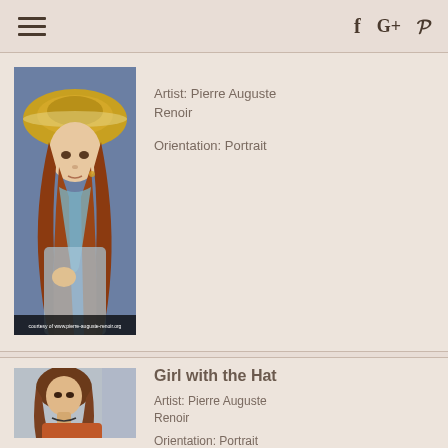Navigation bar with hamburger menu and social icons (f, G+, P)
[Figure (photo): Painting of a young girl with long red hair wearing a wide-brimmed straw hat, by Pierre Auguste Renoir. Caption: courtesy of www.pierre-auguste-renoir.org]
Artist: Pierre Auguste Renoir
Orientation: Portrait
Girl with the Hat
[Figure (photo): Painting of a young girl with brown hair wearing a red/orange dress, by Pierre Auguste Renoir.]
Artist: Pierre Auguste Renoir
Orientation: Portrait